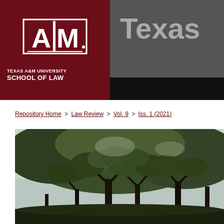[Figure (logo): Texas A&M University School of Law logo on dark red background alongside 'Texas' text on gray background — repository header banner]
Repository Home > Law Review > Vol. 9 > Iss. 1 (2021)
[Figure (photo): Outdoor photograph of large trees with branches and foliage against a light sky]